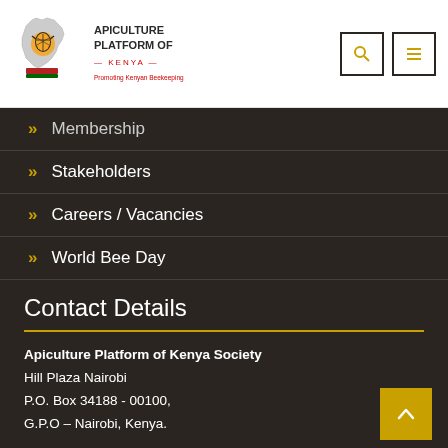[Figure (logo): Apiculture Platform of Kenya logo with map of Kenya and bee illustration]
Apiculture Platform of Kenya — Promoting Kenyan Beekeeping
Membership
Stakeholders
Careers / Vacancies
World Bee Day
Contact Details
Apiculture Platform of Kenya Society
Hill Plaza Nairobi
P.O. Box 34188 - 00100,
G.P.O – Nairobi, Kenya.